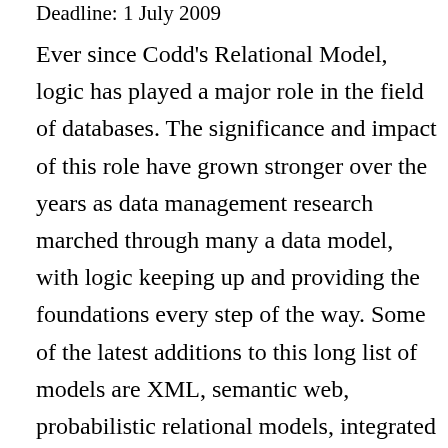Deadline: 1 July 2009
Ever since Codd's Relational Model, logic has played a major role in the field of databases. The significance and impact of this role have grown stronger over the years as data management research marched through many a data model, with logic keeping up and providing the foundations every step of the way. Some of the latest additions to this long list of models are XML, semantic web, probabilistic relational models, integrated model of DB+IR, data integration models, and models of unclean data to name a few. For some of these, corresponding logics already exist or are being explored. The significance of logic's role for data management will continue